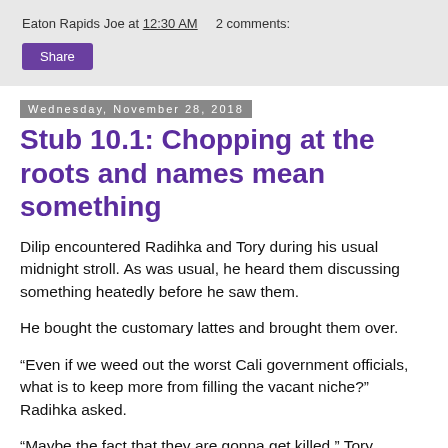Eaton Rapids Joe at 12:30 AM    2 comments:
Share
Wednesday, November 28, 2018
Stub 10.1: Chopping at the roots and names mean something
Dilip encountered Radihka and Tory during his usual midnight stroll. As was usual, he heard them discussing something heatedly before he saw them.
He bought the customary lattes and brought them over.
“Even if we weed out the worst Cali government officials, what is to keep more from filling the vacant niche?” Radihka asked.
“Maybe the fact that they are gonna get killed.” Tory replied.